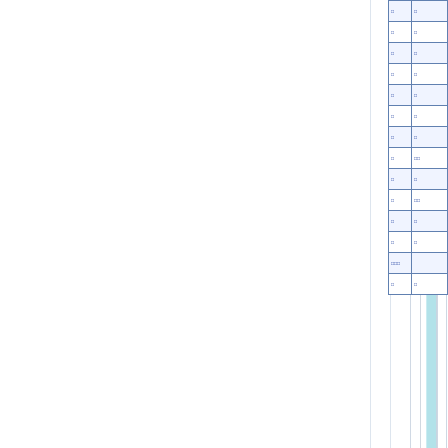[Figure (other): Partial view of a multi-column table or form layout. A cyan/teal vertical bar appears near the center-left area. Several vertical light gray column divider lines are visible. On the far right edge, a narrow fragment of a bordered table with small blue text cells is visible, showing approximately 17 rows of data, mostly cut off.]